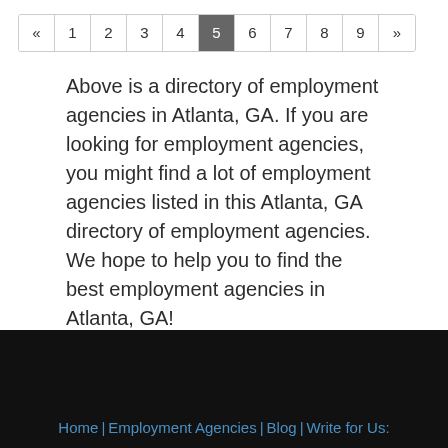[Figure (other): Pagination navigation bar showing pages «, 1, 2, 3, 4, 5 (active/highlighted), 6, 7, 8, 9, »]
Above is a directory of employment agencies in Atlanta, GA. If you are looking for employment agencies, you might find a lot of employment agencies listed in this Atlanta, GA directory of employment agencies. We hope to help you to find the best employment agencies in Atlanta, GA!
Home | Employment Agencies | Blog | Write for Us: